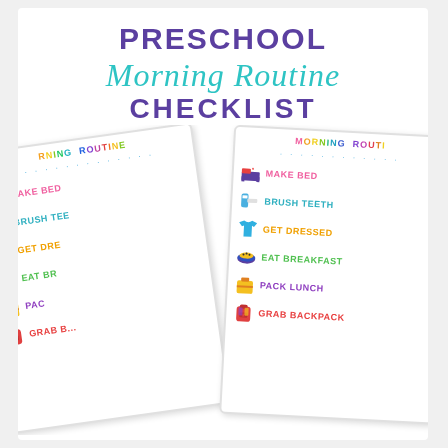PRESCHOOL Morning Routine CHECKLIST
[Figure (illustration): Two overlapping illustrated checklist cards showing a preschool morning routine with colorful text items (MAKE BED, BRUSH TEETH, GET DRESSED, EAT BREAKFAST, PACK LUNCH, GRAB BACKPACK) and corresponding clipart icons (bed, toothpaste, t-shirt, cereal bowl, lunchbox, backpack). The cards are fanned/rotated slightly.]